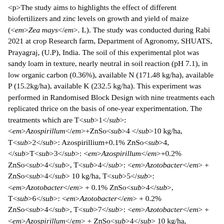<p>The study aims to highlights the effect of different biofertilizers and zinc levels on growth and yield of maize (<em>Zea mays</em>. L). The study was conducted during Rabi 2021 at crop Research farm, Department of Agronomy, SHUATS, Prayagraj, (U.P), India. The soil of this experimental plot was sandy loam in texture, nearly neutral in soil reaction (pH 7.1), in low organic carbon (0.36%), available N (171.48 kg/ha), available P (15.2kg/ha), available K (232.5 kg/ha). This experiment was performed in Randomised Block Design with nine treatments each replicated thrice on the basis of one-year experimentation. The treatments which are T<sub>1</sub>: <em>Azospirillum</em>+ZnSo<sub>4 </sub>10 kg/ha, T<sub>2</sub>: Azospirillium+0.1% ZnSo<sub>4, </sub>T<sub>3</sub>: <em>Azospirillum</em>+0.2% ZnSo<sub>4</sub>, T<sub>4</sub>: <em>Azotobacter</em> + ZnSo<sub>4</sub> 10 kg/ha, T<sub>5</sub>: <em>Azotobacter</em> + 0.1% ZnSo<sub>4</sub>, T<sub>6</sub>: <em>Azotobacter</em> + 0.2% ZnSo<sub>4</sub>, T<sub>7</sub>: <em>Azotobacter</em> + <em>Azospirillum</em> + ZnSo<sub>4</sub> 10 kg/ha, T<sub>8</sub>: <em>Azotobacter</em> + <em>Azospirillum</em> + 0.1% ZnSo<sub>4</sub>, T<sub>9</sub>: <em>Azotobacter</em> + <em>Azospirillum</em> + 0.2% ZnSo<sub>4</sub>. The results showed that application of <em>Azotobacter</em> +